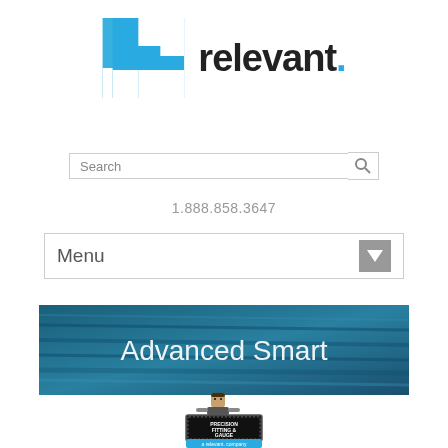[Figure (logo): Relevant company logo: blue square icon with white 'r' cutout, followed by bold text 'relevant.' with blue period]
[Figure (screenshot): Search bar with 'Search' placeholder text and magnifying glass icon on the right]
1.888.858.3647
[Figure (screenshot): Menu navigation bar with 'Menu' label on left and grey dropdown arrow on right]
[Figure (photo): Banner image showing cables/wires in teal/blue tones with text 'Advanced Smart' in white]
[Figure (logo): Precision Fitting & Gauge logo - a relevant. company, pixelated character holding a sign]